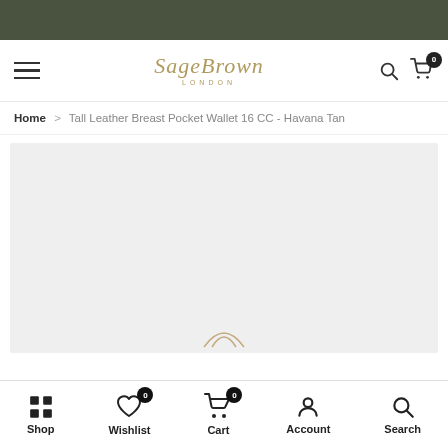[Figure (screenshot): Dark olive/army green top banner bar]
SageBrown LONDON — navigation header with hamburger menu, logo, search and cart icons
Home > Tall Leather Breast Pocket Wallet 16 CC - Havana Tan
[Figure (photo): Product image area — light grey background placeholder for product photo, with a partial decorative logo/mark at the bottom center]
Shop | Wishlist (0) | Cart (0) | Account | Search